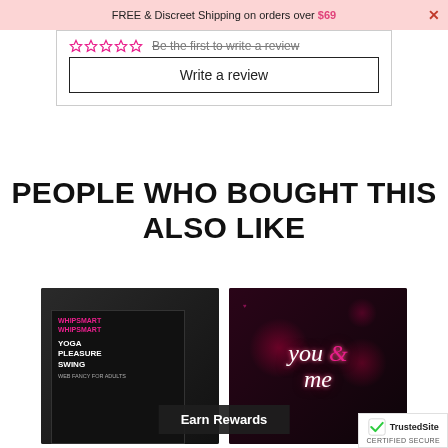FREE & Discreet Shipping on orders over $69
Be the first to write a review
Write a review
PEOPLE WHO BOUGHT THIS ALSO LIKE
[Figure (photo): Two product boxes shown: a Yoga Pleasure Swing box and a You & Me couples game box]
Earn Rewards
[Figure (logo): TrustedSite CERTIFIED SECURE badge with checkmark logo]